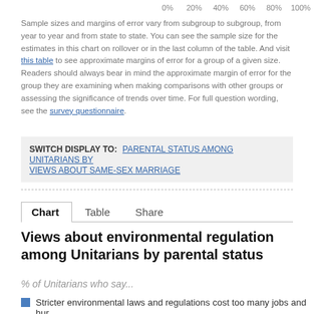[Figure (other): Horizontal bar chart axis labels: 0%, 20%, 40%, 60%, 80%, 100%]
Sample sizes and margins of error vary from subgroup to subgroup, from year to year and from state to state. You can see the sample size for the estimates in this chart on rollover or in the last column of the table. And visit this table to see approximate margins of error for a group of a given size. Readers should always bear in mind the approximate margin of error for the group they are examining when making comparisons with other groups or assessing the significance of trends over time. For full question wording, see the survey questionnaire.
SWITCH DISPLAY TO: PARENTAL STATUS AMONG UNITARIANS BY VIEWS ABOUT SAME-SEX MARRIAGE
Chart   Table   Share
Views about environmental regulation among Unitarians by parental status
% of Unitarians who say...
Stricter environmental laws and regulations cost too many jobs and hurt the economy